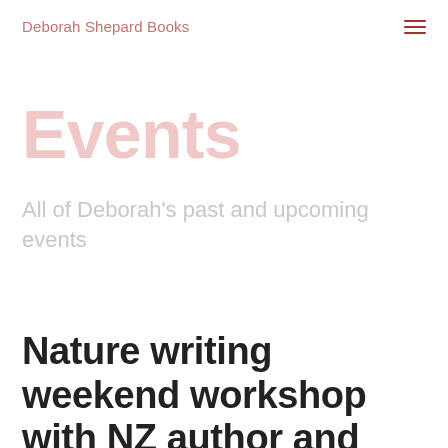Deborah Shepard Books
Events
All of Deborah's past and upcoming events
Nature writing weekend workshop with NZ author and teacher Deborah Shepard